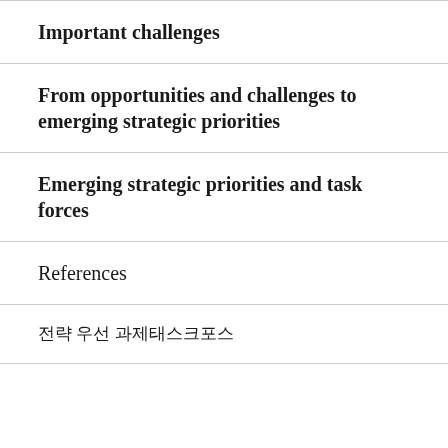Important challenges
From opportunities and challenges to emerging strategic priorities
Emerging strategic priorities and task forces
References
전략 우선 과제태스크포스